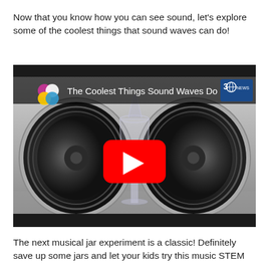Now that you know how you can see sound, let's explore some of the coolest things that sound waves can do!
[Figure (screenshot): YouTube video thumbnail showing two speakers and a wine glass with red wine, with YouTube play button overlay. Title reads 'The Coolest Things Sound Waves Do'. Discovery News (3D NEWS) logo visible in top right corner.]
The next musical jar experiment is a classic! Definitely save up some jars and let your kids try this music STEM